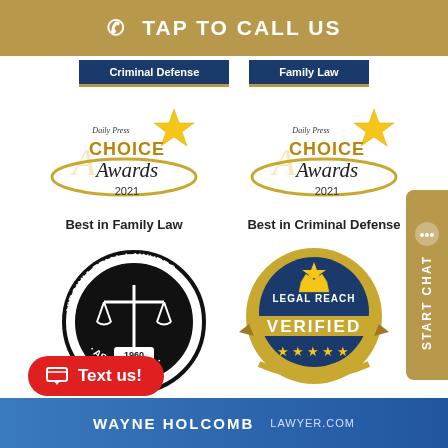TAP TO CALL US
Criminal Defense
Family Law
[Figure (logo): Daily Press Choice Awards 2021 - Best in Family Law]
Best in Family Law
[Figure (logo): Daily Press Choice Awards 2021 - Best in Criminal Defense]
Best in Criminal Defense
[Figure (logo): Virginia Trial Lawyers Association 1960 circular badge with scales of justice]
[Figure (logo): Legal Reach Verified badge with gold and blue design and five stars]
Text us!
START CHAT
WAYNE HOLCOMB LAWYER.COM